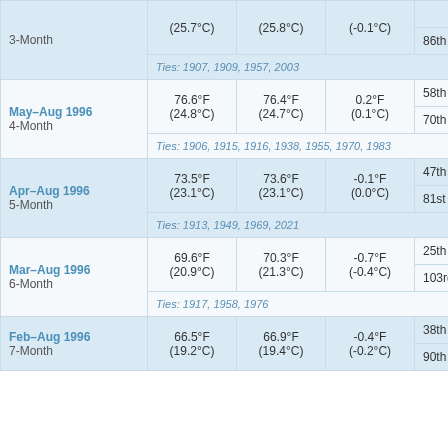| Period | Actual Avg | 1901-2000 Avg | Departure | Rank |  |
| --- | --- | --- | --- | --- | --- |
| 3-Month | (25.7°C) | (25.8°C) | (-0.1°C) | 86th Warmest | W... |
| Ties: 1907, 1909, 1957, 2003 |  |  |  |  |  |
| May–Aug 1996 4-Month | 76.6°F (24.8°C) | 76.4°F (24.7°C) | 0.2°F (0.1°C) | 58th Coolest / 70th Warmest | Co... / W... |
| Ties: 1906, 1915, 1916, 1938, 1955, 1970, 1983 |  |  |  |  |  |
| Apr–Aug 1996 5-Month | 73.5°F (23.1°C) | 73.6°F (23.1°C) | -0.1°F (0.0°C) | 47th Coolest / 81st Warmest | Co... / W... |
| Ties: 1913, 1949, 1969, 2021 |  |  |  |  |  |
| Mar–Aug 1996 6-Month | 69.6°F (20.9°C) | 70.3°F (21.3°C) | -0.7°F (-0.4°C) | 25th Coolest / 103rd Warmest | Co... / W... |
| Ties: 1917, 1958, 1976 |  |  |  |  |  |
| Feb–Aug 1996 7-Month | 66.5°F (19.2°C) | 66.9°F (19.4°C) | -0.4°F (-0.2°C) | 38th Coolest / 90th Warmest | Co... / W... |